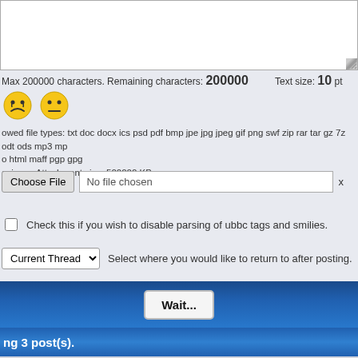[Figure (screenshot): Textarea input box (partial, top portion visible)]
Max 200000 characters. Remaining characters: 200000   Text size: 10 pt
[Figure (illustration): Two emoji smilies: frowning face and confused/neutral face]
Allowed file types: txt doc docx ics psd pdf bmp jpe jpg jpeg gif png swf zip rar tar gz 7z odt ods mp3 mp4 html maff pgp gpg
Maximum Attachment size: 500000 KB
[Figure (screenshot): File upload control: Choose File button, No file chosen text box, and x button]
Check this if you wish to disable parsing of ubbc tags and smilies.
Current Thread   Select where you would like to return to after posting.
[Figure (screenshot): Blue bar with Wait... button]
ing 3 post(s).
refuse the test and get a lawyer ASAP. And don't let your lawyer talk you into s
secutor wouldn't ask you to take it unless he needs it to shore up his case.